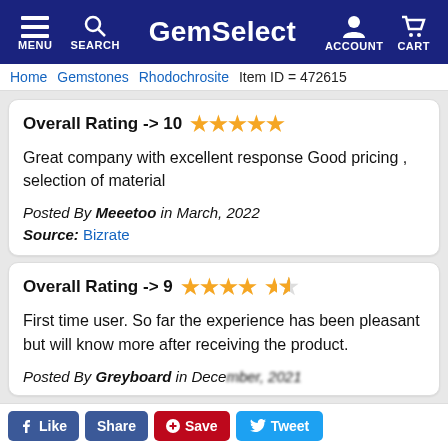GemSelect — MENU | SEARCH | ACCOUNT | CART
Home  Gemstones  Rhodochrosite  Item ID = 472615
Overall Rating -> 10 ★★★★★
Great company with excellent response Good pricing , selection of material
Posted By Meeetoo in March, 2022
Source: Bizrate
Overall Rating -> 9 ★★★★½
First time user. So far the experience has been pleasant but will know more after receiving the product.
Posted By Greyboard in December, 2021